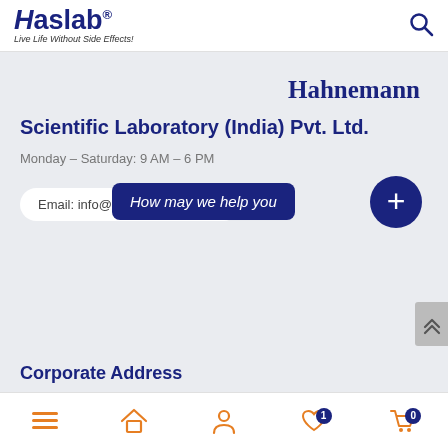[Figure (logo): Haslab logo with tagline 'Live Life Without Side Effects!']
Hahnemann
Scientific Laboratory (India) Pvt. Ltd.
Monday – Saturday: 9 AM – 6 PM
Email: info@ha…
How may we help you
Corporate Address